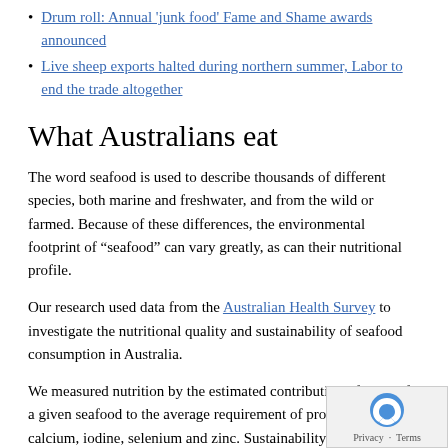Drum roll: Annual 'junk food' Fame and Shame awards announced
Live sheep exports halted during northern summer, Labor to end the trade altogether
What Australians eat
The word seafood is used to describe thousands of different species, both marine and freshwater, and from the wild or farmed. Because of these differences, the environmental footprint of “seafood” can vary greatly, as can their nutritional profile.
Our research used data from the Australian Health Survey to investigate the nutritional quality and sustainability of seafood consumption in Australia.
We measured nutrition by the estimated contribution of 100g of a given seafood to the average requirement of protein, omega 3, calcium, iodine, selenium and zinc. Sustainability was assessed on the basis of stock status, resource use, habitat and ecosystem impacts, and health and disease management.
The majority of respondents (83%) did not consume any seafood on the day of the survey, and we found that there were large discrepancies in consumption patterns between different sociodemographic groups.
Of those who did consume seafood, the proportion was lowest among